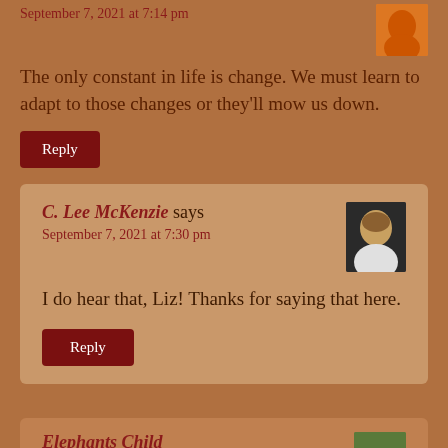September 7, 2021 at 7:14 pm
The only constant in life is change. We must learn to adapt to those changes or they'll mow us down.
Reply
C. Lee McKenzie says
September 7, 2021 at 7:30 pm
I do hear that, Liz! Thanks for saying that here.
Reply
Elephants Child